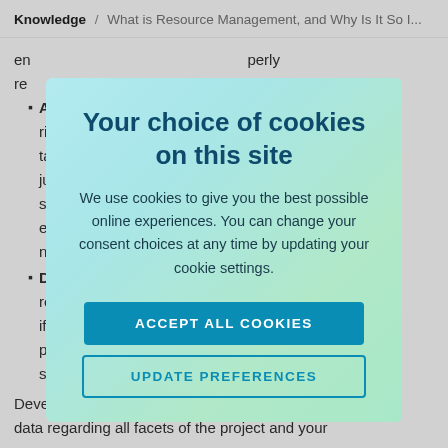Knowledge / What is Resource Management, and Why Is It So I...
en ... perly re ...
Al ... right ... ta ... om ju ... ly so ... when en ... ct ne ...
De ... re ... nt — if ... ately pl ... ected sc ...
Developing accurate estimates requires access to quality data regarding all facets of the project and your
[Figure (screenshot): Cookie consent modal dialog with gradient background (light blue to light green). Title: 'Your choice of cookies on this site'. Body text: 'We use cookies to give you the best possible online experiences. You can change your consent choices at any time by updating your cookie settings.' Two buttons: 'ACCEPT ALL COOKIES' (teal filled) and 'UPDATE PREFERENCES' (teal outlined).]